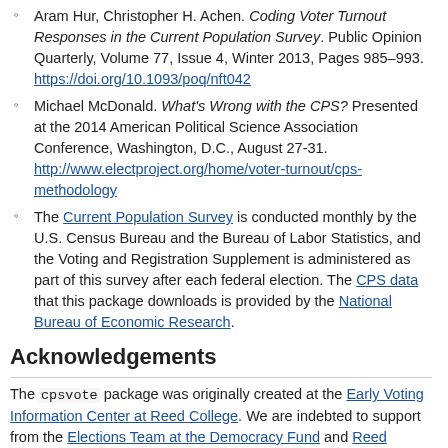Aram Hur, Christopher H. Achen. Coding Voter Turnout Responses in the Current Population Survey. Public Opinion Quarterly, Volume 77, Issue 4, Winter 2013, Pages 985–993. https://doi.org/10.1093/poq/nft042
Michael McDonald. What's Wrong with the CPS? Presented at the 2014 American Political Science Association Conference, Washington, D.C., August 27-31. http://www.electproject.org/home/voter-turnout/cps-methodology
The Current Population Survey is conducted monthly by the U.S. Census Bureau and the Bureau of Labor Statistics, and the Voting and Registration Supplement is administered as part of this survey after each federal election. The CPS data that this package downloads is provided by the National Bureau of Economic Research.
Acknowledgements
The cpsvote package was originally created at the Early Voting Information Center at Reed College. We are indebted to support from the Elections Team at the Democracy Fund and Reed College for supporting the work of EVIC.